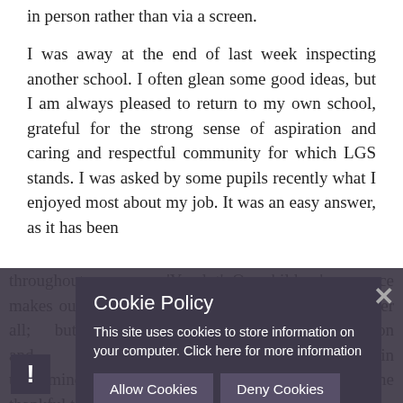in person rather than via a screen.
I was away at the end of last week inspecting another school. I often glean some good ideas, but I am always pleased to return to my own school, grateful for the strong sense of aspiration and caring and respectful community for which LGS stands. I was asked by some pupils recently what I enjoyed most about my job. It was an easy answer, as it has been
throughout my career: 'You lot'. Our children's presence makes our school from time to time education, after all; but it is a lived, daily interaction and ... undermine... beings have always made me thankful to be a teacher. This is ... rolling
[Figure (screenshot): Cookie Policy modal overlay with dark semi-transparent background. Contains title 'Cookie Policy', text 'This site uses cookies to store information on your computer. Click here for more information', and two buttons: 'Allow Cookies' and 'Deny Cookies'. A close (X) button appears top right of the overlay. A dark exclamation mark icon appears bottom left.]